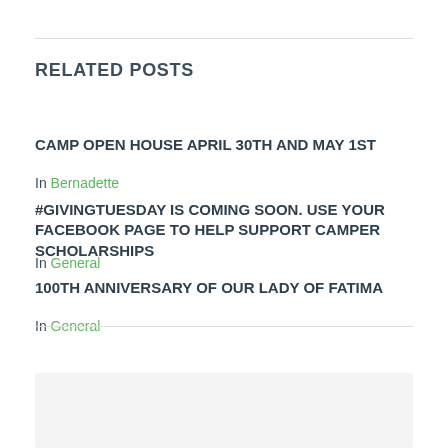RELATED POSTS
CAMP OPEN HOUSE APRIL 30TH AND MAY 1ST
In Bernadette
#GIVINGTUESDAY IS COMING SOON. USE YOUR FACEBOOK PAGE TO HELP SUPPORT CAMPER SCHOLARSHIPS
In General
100TH ANNIVERSARY OF OUR LADY OF FATIMA
In General